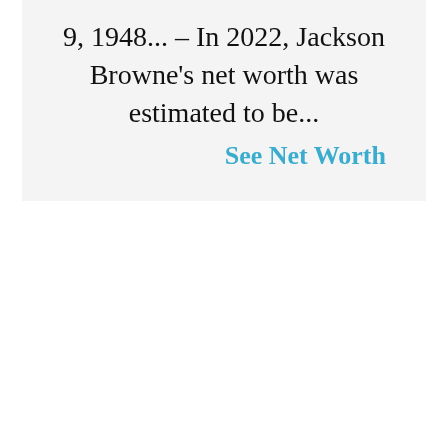9, 1948... – In 2022, Jackson Browne's net worth was estimated to be...
See Net Worth